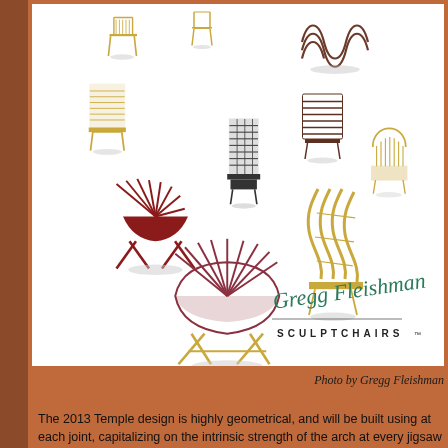[Figure (photo): A collage of sculptural chair designs by Gregg Fleishman, shown against a white background. Various artistic chair designs in gold, red/maroon, brown, and dark colors are scattered across the image. Bottom right shows a cursive signature and 'SCULPTCHAIRS™' text.]
Photo by Gregg Fleishman
The 2013 Temple design is highly geometrical, and will be built using at each joint, capitalizing on the intrinsic strength of the arch at every jigsaw of triangles and pyramids. No nails, screws, or other metal are